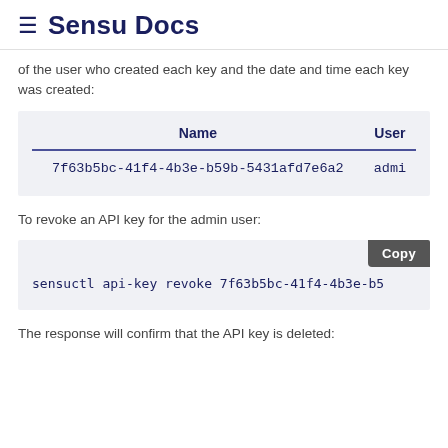≡ Sensu Docs
of the user who created each key and the date and time each key was created:
| Name | User |
| --- | --- |
| 7f63b5bc-41f4-4b3e-b59b-5431afd7e6a2 | admi |
To revoke an API key for the admin user:
[Figure (screenshot): Code block showing: sensuctl api-key revoke 7f63b5bc-41f4-4b3e-b5 with a Copy button]
The response will confirm that the API key is deleted: